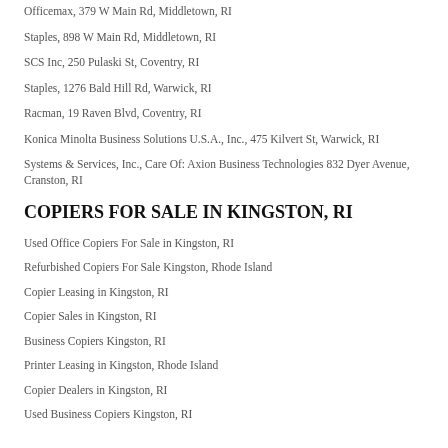Officemax, 379 W Main Rd, Middletown, RI
Staples, 898 W Main Rd, Middletown, RI
SCS Inc, 250 Pulaski St, Coventry, RI
Staples, 1276 Bald Hill Rd, Warwick, RI
Racman, 19 Raven Blvd, Coventry, RI
Konica Minolta Business Solutions U.S.A., Inc., 475 Kilvert St, Warwick, RI
Systems & Services, Inc., Care Of: Axion Business Technologies 832 Dyer Avenue, Cranston, RI
COPIERS FOR SALE IN KINGSTON, RI
Used Office Copiers For Sale in Kingston, RI
Refurbished Copiers For Sale Kingston, Rhode Island
Copier Leasing in Kingston, RI
Copier Sales in Kingston, RI
Business Copiers Kingston, RI
Printer Leasing in Kingston, Rhode Island
Copier Dealers in Kingston, RI
Used Business Copiers Kingston, RI